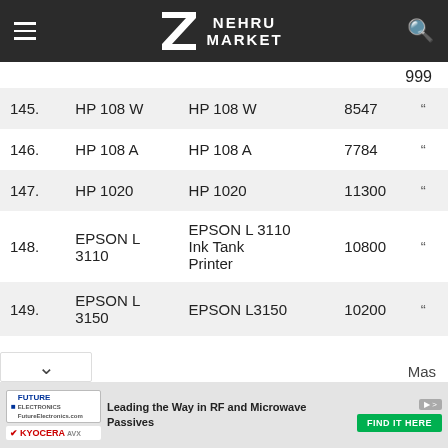NEHRU MARKET
999
| # | Short Name | Full Name | Price |  |
| --- | --- | --- | --- | --- |
| 145. | HP 108 W | HP 108 W | 8547 | " |
| 146. | HP 108 A | HP 108 A | 7784 | " |
| 147. | HP 1020 | HP 1020 | 11300 | " |
| 148. | EPSON L 3110 | EPSON L 3110 Ink Tank Printer | 10800 | " |
| 149. | EPSON L 3150 | EPSON L3150 | 10200 | " |